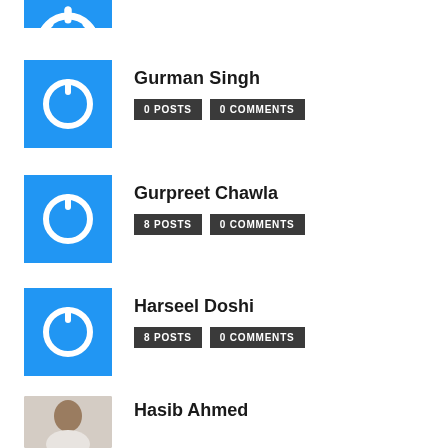[Figure (illustration): Partial blue avatar with white power icon at top of page (cropped)]
Gurman Singh
0 POSTS   0 COMMENTS
[Figure (illustration): Blue square avatar with white power/G icon for Gurman Singh]
Gurpreet Chawla
8 POSTS   0 COMMENTS
[Figure (illustration): Blue square avatar with white power/G icon for Gurpreet Chawla]
Harseel Doshi
8 POSTS   0 COMMENTS
[Figure (illustration): Blue square avatar with white power/G icon for Harseel Doshi]
Hasib Ahmed
0 POSTS   0 COMMENTS
[Figure (photo): Photo of Hasib Ahmed - young male with dark hair]
Hatim
8 POSTS   3 COMMENTS
[Figure (logo): Blue circular avatar with white HB letters for Hatim]